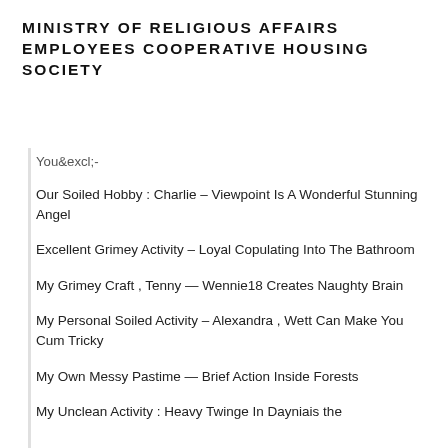MINISTRY OF RELIGIOUS AFFAIRS EMPLOYEES COOPERATIVE HOUSING SOCIETY
You&excl;-
Our Soiled Hobby : Charlie – Viewpoint Is A Wonderful Stunning Angel
Excellent Grimey Activity – Loyal Copulating Into The Bathroom
My Grimey Craft , Tenny — Wennie18 Creates Naughty Brain
My Personal Soiled Activity – Alexandra , Wett Can Make You Cum Tricky
My Own Messy Pastime — Brief Action Inside Forests
My Unclean Activity : Heavy Twinge In Dayniais the